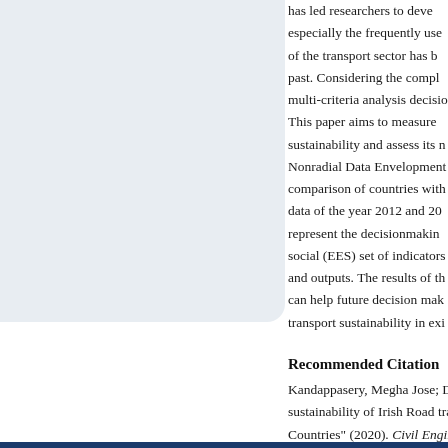[Figure (other): Light blue/grey rounded rectangle placeholder image in upper left area]
has led researchers to deve... especially the frequently use... of the transport sector has b... past. Considering the compl... multi-criteria analysis decisio... This paper aims to measure ... sustainability and assess its n... Nonradial Data Envelopment... comparison of countries with... data of the year 2012 and 20... represent the decisionmakin... social (EES) set of indicators a... and outputs. The results of th... can help future decision mak... transport sustainability in exi...
Recommended Citation
Kandappasery, Megha Jose; Djo... sustainability of Irish Road tra... Countries" (2020). Civil Enginee... https://sword.cit.ie/ceri/2020/1...